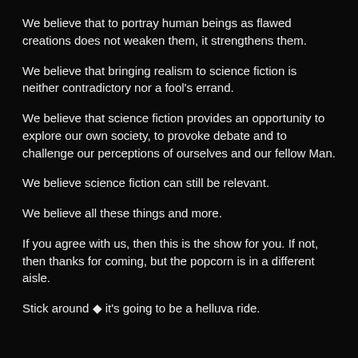We believe that to portray human beings as flawed creations does not weaken them, it strengthens them.
We believe that bringing realism to science fiction is neither contradictory nor a fool's errand.
We believe that science fiction provides an opportunity to explore our own society, to provoke debate and to challenge our perceptions of ourselves and our fellow Man.
We believe science fiction can still be relevant.
We believe all these things and more.
If you agree with us, then this is the show for you. If not, then thanks for coming, but the popcorn is in a different aisle.
Stick around ◆ it's going to be a helluva ride.